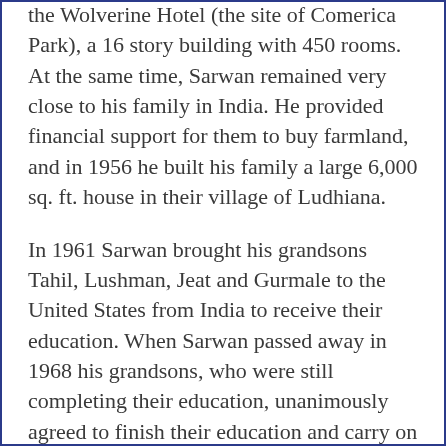the Wolverine Hotel (the site of Comerica Park), a 16 story building with 450 rooms. At the same time, Sarwan remained very close to his family in India. He provided financial support for them to buy farmland, and in 1956 he built his family a large 6,000 sq. ft. house in their village of Ludhiana.
In 1961 Sarwan brought his grandsons Tahil, Lushman, Jeat and Gurmale to the United States from India to receive their education. When Sarwan passed away in 1968 his grandsons, who were still completing their education, unanimously agreed to finish their education and carry on in their grandfather's footsteps after college.
Gurmale received a degree in business in 1972 from Wayne State University, and his brothers pursued higher education upon